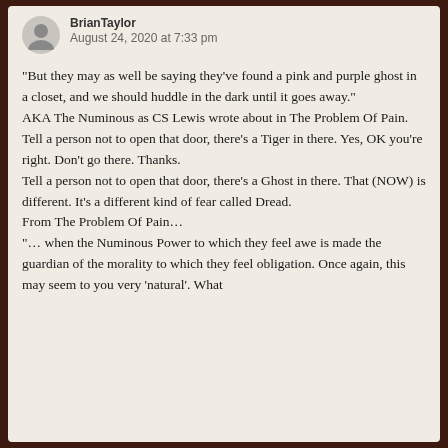August 24, 2020 at 7:33 pm
“But they may as well be saying they’ve found a pink and purple ghost in a closet, and we should huddle in the dark until it goes away.”
AKA The Numinous as CS Lewis wrote about in The Problem Of Pain.
Tell a person not to open that door, there’s a Tiger in there. Yes, OK you’re right. Don’t go there. Thanks.
Tell a person not to open that door, there’s a Ghost in there. That (NOW) is different. It’s a different kind of fear called Dread.
From The Problem Of Pain…
“… when the Numinous Power to which they feel awe is made the guardian of the morality to which they feel obligation. Once again, this may seem to you very ‘natural’. What